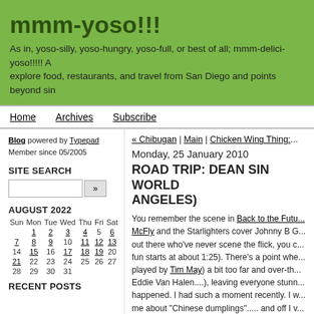mmm-yoso!!!
As in, yoso-silly, yoso-hungry, yoso-full, or best of all; mmm-delici-yoso!!!!! A... explore food, restaurants, and travel from San Diego and points beyond sin...
Home | Archives | Subscribe
Blog powered by Typepad
Member since 05/2005
SITE SEARCH
AUGUST 2022
| Sun | Mon | Tue | Wed | Thu | Fri | Sat |
| --- | --- | --- | --- | --- | --- | --- |
|  | 1 | 2 | 3 | 4 | 5 | 6 |
| 7 | 8 | 9 | 10 | 11 | 12 | 13 |
| 14 | 15 | 16 | 17 | 18 | 19 | 20 |
| 21 | 22 | 23 | 24 | 25 | 26 | 27 |
| 28 | 29 | 30 | 31 |  |  |  |
RECENT POSTS
« Chibugan | Main | Chicken Wing Thing:...
Monday, 25 January 2010
ROAD TRIP: DEAN SIN WORLD... ANGELES)
You remember the scene in Back to the Futu... McFly and the Starlighters cover Johnny B G... out there who've never scene the flick, you c... fun starts at about 1:25). There's a point whe... played by Tim May)  a bit too far and over-th... Eddie Van Halen....), leaving everyone stunn... happened. I had such a moment recently. I w... me about "Chinese dumplings"..... and off I v... folds, the slight pull and pillowiness of well...